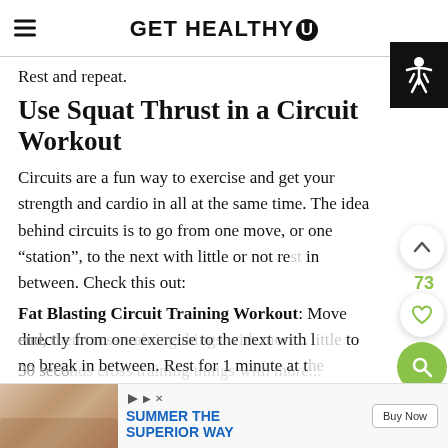GET HEALTHY U
Rest and repeat.
Use Squat Thrust in a Circuit Workout
Circuits are a fun way to exercise and get your strength and cardio in all at the same time. The idea behind circuits is to go from one move, or one “station”, to the next with little or no rest in between. Check this out:
Fat Blasting Circuit Training Workout: Move directly from one exercise to the next with little to no break in between. Rest for 1 minute at the end, then cross-training things with more...
30 seconds cross-training things with more...
[Figure (screenshot): Advertisement banner: Summer The Superior Way with Buy Now button]